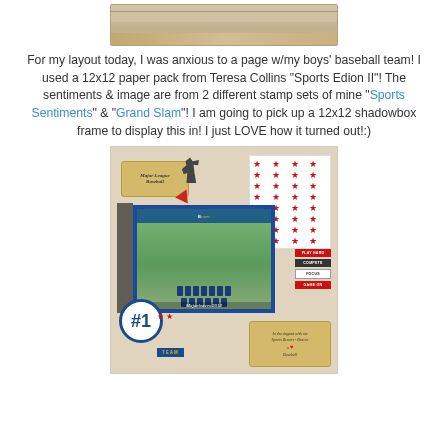[Figure (photo): Partial view of a paper roll or craft material, tan/beige colored, at top of page]
For my layout today, I was anxious to a page w/my boys' baseball team! I used a 12x12 paper pack from Teresa Collins "Sports Edion II"! The sentiments & image are from 2 different stamp sets of mine "Sports Sentiments" & "Grand Slam"! I am going to pick up a 12x12 shadowbox frame to display this in! I just LOVE how it turned out!:)
[Figure (photo): Scrapbook page layout featuring a boys baseball team photo, with decorative elements including a Major League Baseball tag, star-patterned paper, #1 Team badge, sports-themed stamps reading PLAY HARD, COMPETE, FOCUS, GAME ON, and handwritten journaling tags. Caption reads Majorleaves 2012.]